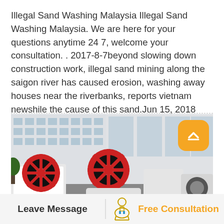Illegal Sand Washing Malaysia Illegal Sand Washing Malaysia. We are here for your questions anytime 24 7, welcome your consultation. . 2017-8-7beyond slowing down construction work, illegal sand mining along the saigon river has caused erosion, washing away houses near the riverbanks, reports vietnam newshile the cause of this sand.Jun 15, 2018 The uninhabited island has been found to…
[Figure (photo): Industrial sand washing machines with large red wheel mechanisms displayed in a factory yard; white industrial building with Chinese text in background.]
Leave Message
Free Consultation